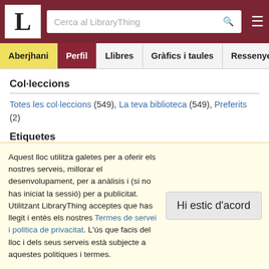LibraryThing - Cerca al LibraryThing
Aberjhani | Perfil | Llibres | Gràfics i taules | Ressenyes
Col·leccions
Totes les col·leccions (549), La teva biblioteca (549), Preferits (2)
Etiquetes
biography (75), poetry (74), spiritual philosophy (59), american history (52), harlem renaissance (47), race relations (45), african-american history (42), mysticism (38), essays (36), african-american literature (34), philosophy (29), anthology (29), american literature (25), classic world literature (25), poet of the angels (23)
Aquest lloc utilitza galetes per a oferir els nostres serveis, millorar el desenvolupament, per a anàlisis i (si no has iniciat la sessió) per a publicitat. Utilitzant LibraryThing acceptes que has llegit i entès els nostres Termes de servei i politica de privacitat. L'ús que facis del lloc i dels seus serveis està subjecte a aquestes politiques i termes.